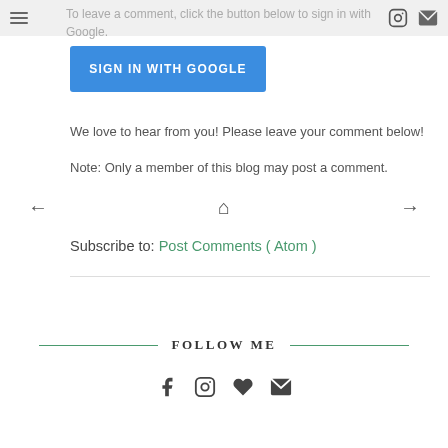To leave a comment, click the button below to sign in with Google.
[Figure (other): Blue 'SIGN IN WITH GOOGLE' button]
We love to hear from you! Please leave your comment below!
Note: Only a member of this blog may post a comment.
[Figure (other): Navigation arrows: left arrow, home icon, right arrow]
Subscribe to: Post Comments ( Atom )
FOLLOW ME
[Figure (other): Social media icons: Facebook, Instagram, Heart/Bloglovin, Email]